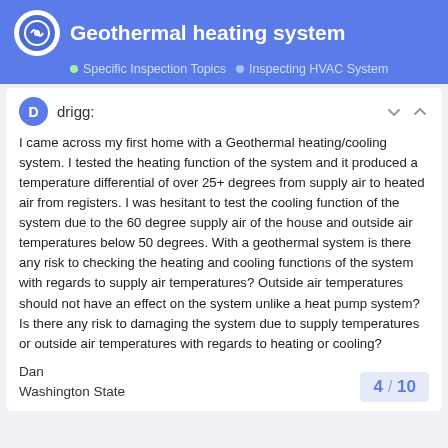Geothermal heating system
Specific Inspection Topics  Inspecting HVAC System
drigg:
I came across my first home with a Geothermal heating/cooling system. I tested the heating function of the system and it produced a temperature differential of over 25+ degrees from supply air to heated air from registers. I was hesitant to test the cooling function of the system due to the 60 degree supply air of the house and outside air temperatures below 50 degrees. With a geothermal system is there any risk to checking the heating and cooling functions of the system with regards to supply air temperatures? Outside air temperatures should not have an effect on the system unlike a heat pump system? Is there any risk to damaging the system due to supply temperatures or outside air temperatures with regards to heating or cooling?
Dan
Washington State
4 / 10